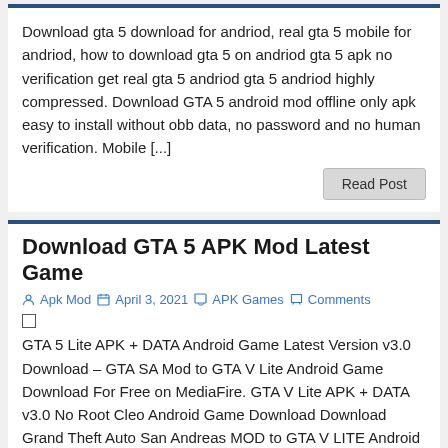Download gta 5 download for andriod, real gta 5 mobile for andriod, how to download gta 5 on andriod gta 5 apk no verification get real gta 5 andriod gta 5 andriod highly compressed. Download GTA 5 android mod offline only apk easy to install without obb data, no password and no human verification. Mobile [...]
Read Post
Download GTA 5 APK Mod Latest Game
Apk Mod   April 3, 2021   APK Games   Comments
GTA 5 Lite APK + DATA Android Game Latest Version v3.0 Download – GTA SA Mod to GTA V Lite Android Game Download For Free on MediaFire. GTA V Lite APK + DATA v3.0 No Root Cleo Android Game Download Download Grand Theft Auto San Andreas MOD to GTA V LITE Android Game. Rockstar Games [...]
Read Post